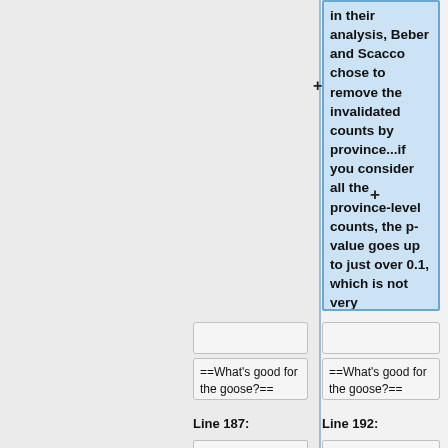in their analysis, Beber and Scacco chose to remove the invalidated counts by province...if you consider all the province-level counts, the p-value goes up to just over 0.1, which is not very significant. </blockquote>
==What's good for the goose?==
==What's good for the goose?==
Line 187:
Line 192: